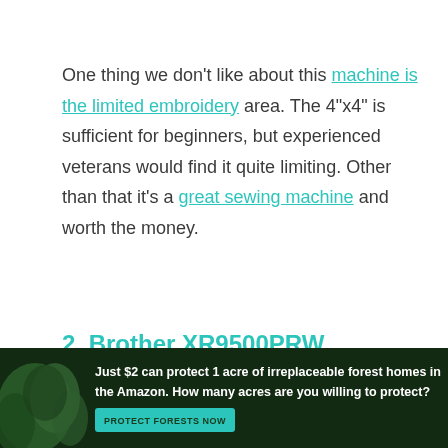One thing we don't like about this machine is the limited embroidery area. The 4"x4" is sufficient for beginners, but experienced veterans would find it quite limiting. Other than that it's a great sewing machine and worth the money.
2. Brother XR9500PRW
[Figure (infographic): Advertisement banner with forest background: 'Just $2 can protect 1 acre of irreplaceable forest homes in the Amazon. How many acres are you willing to protect?' with 'PROTECT FORESTS NOW' button]